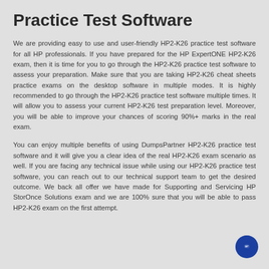Practice Test Software
We are providing easy to use and user-friendly HP2-K26 practice test software for all HP professionals. If you have prepared for the HP ExpertONE HP2-K26 exam, then it is time for you to go through the HP2-K26 practice test software to assess your preparation. Make sure that you are taking HP2-K26 cheat sheets practice exams on the desktop software in multiple modes. It is highly recommended to go through the HP2-K26 practice test software multiple times. It will allow you to assess your current HP2-K26 test preparation level. Moreover, you will be able to improve your chances of scoring 90%+ marks in the real exam.
You can enjoy multiple benefits of using DumpsPartner HP2-K26 practice test software and it will give you a clear idea of the real HP2-K26 exam scenario as well. If you are facing any technical issue while using our HP2-K26 practice test software, you can reach out to our technical support team to get the desired outcome. We back all offer we have made for Supporting and Servicing HP StorOnce Solutions exam and we are 100% sure that you will be able to pass HP2-K26 exam on the first attempt.